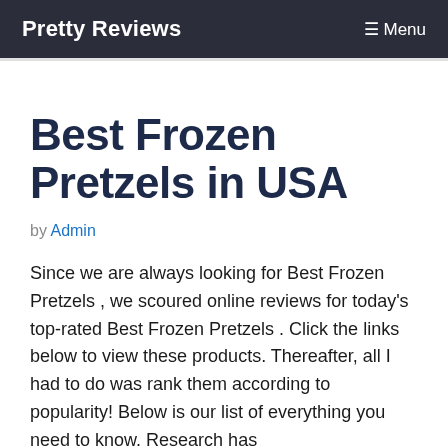Pretty Reviews  Menu
Best Frozen Pretzels in USA
by Admin
Since we are always looking for Best Frozen Pretzels , we scoured online reviews for today's top-rated Best Frozen Pretzels . Click the links below to view these products. Thereafter, all I had to do was rank them according to popularity! Below is our list of everything you need to know. Research has